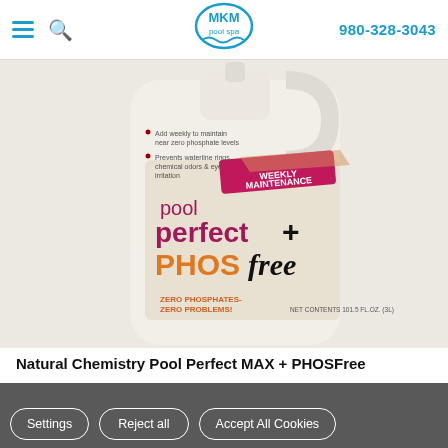MKM pool spa — 980-328-3043
[Figure (photo): Large white bottle of Natural Chemistry Pool Perfect + PHOSfree product. Label shows 'pool perfect + PHOSfree', 'WEEKLY MAINTENANCE', 'ZERO PHOSPHATES - ZERO PROBLEMS!', 'NET CONTENTS 101.5 FL.OZ. (3L)'. Bullet points: Add weekly to maintain near zero phosphate levels; Prevents waterline rings, chemical odors & eye irritation.]
Natural Chemistry Pool Perfect MAX + PHOSFree
We use cookies (and other similar technologies) to collect data to improve your shopping experience.
Settings   Reject all   Accept All Cookies